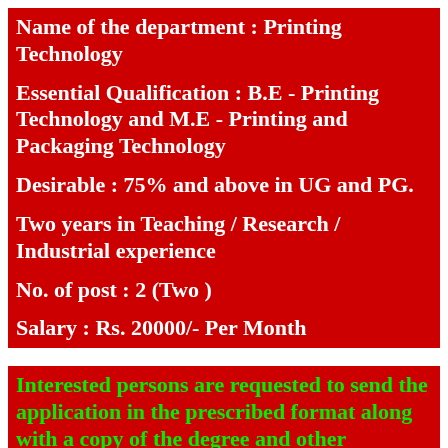Name of the department : Printing Technology
Essential Qualification : B.E - Printing Technology and M.E - Printing and Packaging Technology
Desirable : 75% and above in UG and PG.
Two years in Teaching / Research / Industrial experience
No. of post : 2 (Two )
Salary : Rs. 20000/- Per Month
Interested persons are requested to send the application in the prescribed format along with a copy of the degree and other certificates